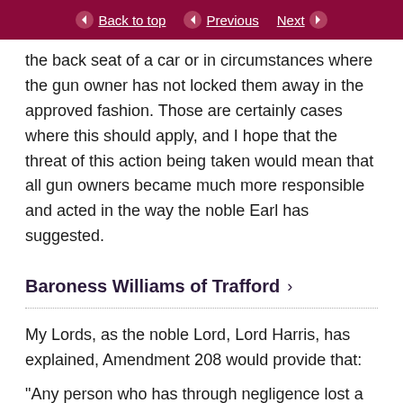Back to top | Previous | Next
the back seat of a car or in circumstances where the gun owner has not locked them away in the approved fashion. Those are certainly cases where this should apply, and I hope that the threat of this action being taken would mean that all gun owners became much more responsible and acted in the way the noble Earl has suggested.
Baroness Williams of Trafford
My Lords, as the noble Lord, Lord Harris, has explained, Amendment 208 would provide that:
“Any person who has through negligence lost a firearm or through negligence enabled a firearm to be stolen shall have all firearms certificates in their